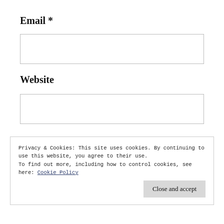Email *
[Figure (other): Empty text input box for Email field]
Website
[Figure (other): Empty text input box for Website field]
Privacy & Cookies: This site uses cookies. By continuing to use this website, you agree to their use.
To find out more, including how to control cookies, see here: Cookie Policy
Close and accept